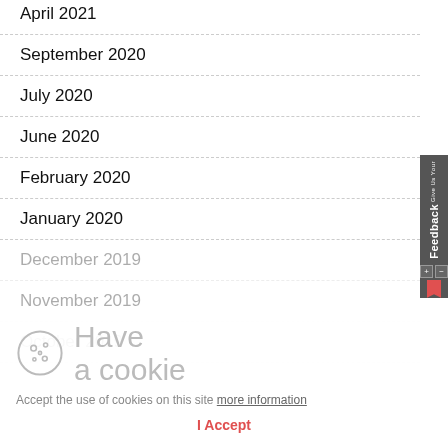April 2021
September 2020
July 2020
June 2020
February 2020
January 2020
December 2019
November 2019
October 2019
Have a cookie
Accept the use of cookies on this site more information
I Accept